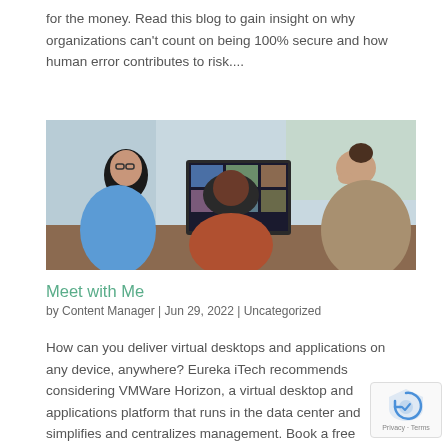for the money. Read this blog to gain insight on why organizations can't count on being 100% secure and how human error contributes to risk....
[Figure (photo): Three people gathered around a laptop or monitor screen showing a video conference grid of participants. One person has long dark hair and glasses, another is a man with short hair, and the third is a woman with hair up, leaning in.]
Meet with Me
by Content Manager | Jun 29, 2022 | Uncategorized
How can you deliver virtual desktops and applications on any device, anywhere? Eureka iTech recommends considering VMWare Horizon, a virtual desktop and applications platform that runs in the data center and simplifies and centralizes management. Book a free